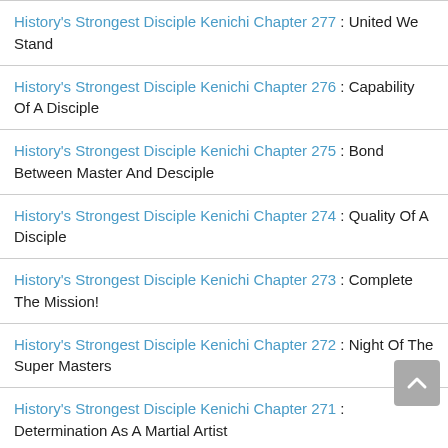History's Strongest Disciple Kenichi Chapter 277 : United We Stand
History's Strongest Disciple Kenichi Chapter 276 : Capability Of A Disciple
History's Strongest Disciple Kenichi Chapter 275 : Bond Between Master And Desciple
History's Strongest Disciple Kenichi Chapter 274 : Quality Of A Disciple
History's Strongest Disciple Kenichi Chapter 273 : Complete The Mission!
History's Strongest Disciple Kenichi Chapter 272 : Night Of The Super Masters
History's Strongest Disciple Kenichi Chapter 271 : Determination As A Martial Artist
History's Strongest Disciple Kenichi Chapter 270 : Fist Of Destruction, Alexander Gaidar
History's Strongest Disciple Kenichi Chapter 269 : Yomi In High School
History's Strongest Disciple Kenichi Chapter 268 : Enlightenment Of The Satujin Ken
History's Strongest Disciple Kenichi Chapter 267 : New Semester New Enemies